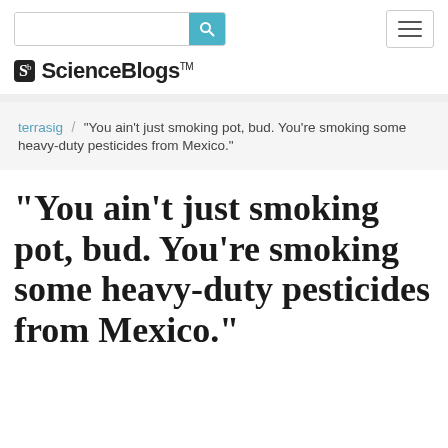[Figure (screenshot): ScienceBlogs website navigation bar with search input and hamburger menu button]
ScienceBlogs™
terrasig / "You ain't just smoking pot, bud. You're smoking some heavy-duty pesticides from Mexico."
"You ain't just smoking pot, bud. You're smoking some heavy-duty pesticides from Mexico."